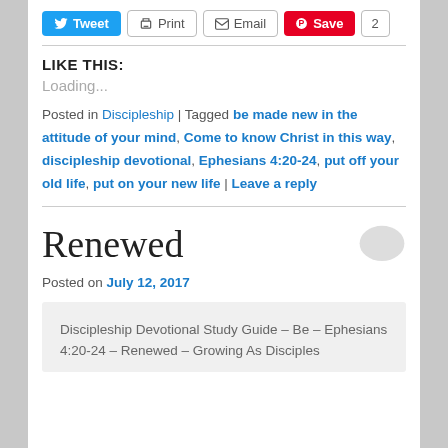[Figure (other): Social share buttons row: Tweet (blue), Print (outlined), Email (outlined), Save (red Pinterest), count badge showing 2]
LIKE THIS:
Loading...
Posted in Discipleship | Tagged be made new in the attitude of your mind, Come to know Christ in this way, discipleship devotional, Ephesians 4:20-24, put off your old life, put on your new life | Leave a reply
Renewed
Posted on July 12, 2017
Discipleship Devotional Study Guide – Be – Ephesians 4:20-24 – Renewed – Growing As Disciples